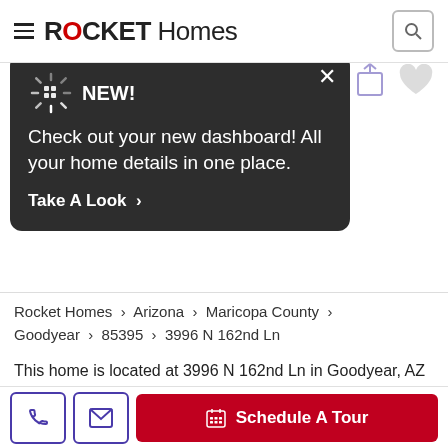ROCKET Homes
[Figure (screenshot): Rocket Homes website screenshot with a dark popup notification saying NEW! Check out your new dashboard! All your home details in one place. Take A Look >]
Rocket Homes > Arizona > Maricopa County > Goodyear > 85395 > 3996 N 162nd Ln
This home is located at 3996 N 162nd Ln in Goodyear, AZ and zip code 85395 in the Pebblecreek neighborhood. This 1,530 square foot
Schedule A Tour